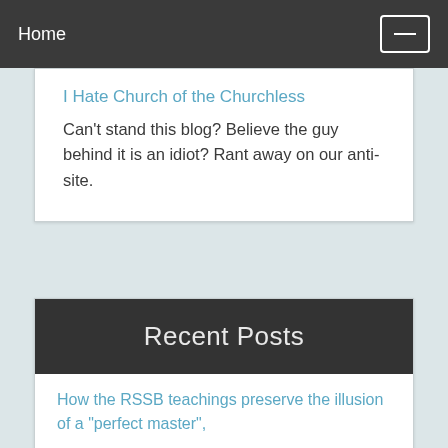Home
I Hate Church of the Churchless
Can't stand this blog? Believe the guy behind it is an idiot? Rant away on our anti-site.
Recent Posts
How the RSSB teachings preserve the illusion of a "perfect master",
"No mind" in Zen doesn't mean what most people think it does,
Good friends of mine prove that morality doesn't require religion,
Science says about dark energy: "So the mystery